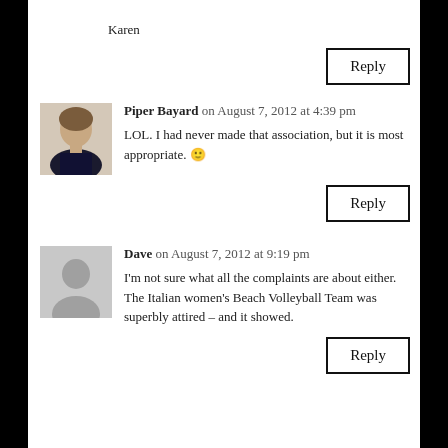Karen
Reply
Piper Bayard on August 7, 2012 at 4:39 pm
LOL. I had never made that association, but it is most appropriate. 🙂
Reply
Dave on August 7, 2012 at 9:19 pm
I'm not sure what all the complaints are about either. The Italian women's Beach Volleyball Team was superbly attired – and it showed.
Reply